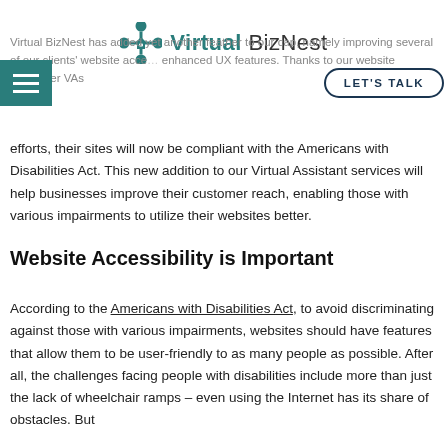Virtual BizNest
Virtual BizNest has added yet another feather to our cap, namely improving several of our clients' website accessibility with enhanced UX features. Thanks to our website developer VAs efforts, their sites will now be compliant with the Americans with Disabilities Act. This new addition to our Virtual Assistant services will help businesses improve their customer reach, enabling those with various impairments to utilize their websites better.
Website Accessibility is Important
According to the Americans with Disabilities Act, to avoid discriminating against those with various impairments, websites should have features that allow them to be user-friendly to as many people as possible. After all, the challenges facing people with disabilities include more than just the lack of wheelchair ramps – even using the Internet has its share of obstacles. But